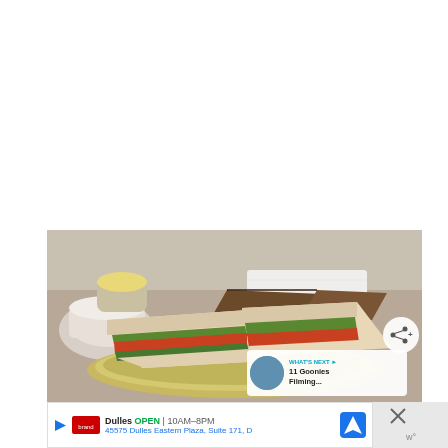[Figure (photo): Photo of afternoon tea sandwiches on a silver plate, with white cups and saucers in background. Various finger sandwiches including white bread and brown bread varieties with fillings visible.]
[Figure (screenshot): What's Next overlay showing thumbnail and text '11 Goonies Filming...']
WHAT'S NEXT → 11 Goonies Filming...
Dulles OPEN | 10AM–8PM 45575 Dulles Eastern Plaza, Suite 171, D